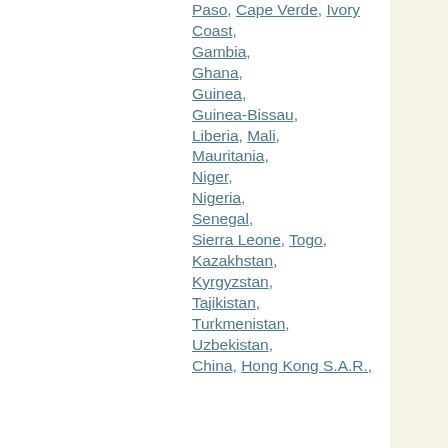Paso, Cape Verde, Ivory Coast, Gambia, Ghana, Guinea, Guinea-Bissau, Liberia, Mali, Mauritania, Niger, Nigeria, Senegal, Sierra Leone, Togo, Kazakhstan, Kyrgyzstan, Tajikistan, Turkmenistan, Uzbekistan, China, Hong Kong S.A.R.,